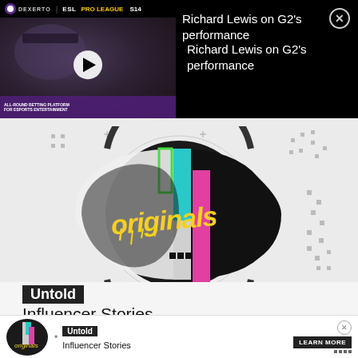[Figure (screenshot): Video thumbnail showing a man with glasses and beard, ESL Pro League S14 Dexerto branding banner at top, play button overlay, purple betting platform ticker at bottom]
Richard Lewis on G2's performance
[Figure (logo): Dexerto Originals circular logo with colorful geometric design and graffiti-style 'ORIGINALS' text in yellow]
Untold Influencer Stories
[Figure (screenshot): Bottom advertisement banner with Originals logo, Untold Influencer Stories text, and LEARN MORE button]